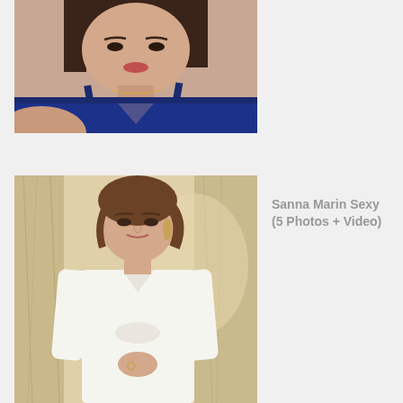[Figure (photo): A woman with dark shoulder-length hair wearing a deep V-neck navy blue sparkly dress, photographed from above the waist, against a light background.]
[Figure (photo): A woman with brown hair pulled back wearing a white long-sleeve V-neck dress, standing in front of marble columns, photographed in a formal setting.]
Sanna Marin Sexy (5 Photos + Video)